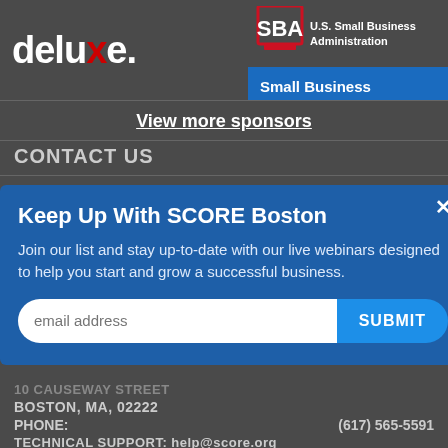[Figure (logo): Deluxe logo in white text with red X letter]
[Figure (logo): SBA U.S. Small Business Administration logo with Small Business Resilience Hub link in blue box]
View more sponsors
CONTACT US
Keep Up With SCORE Boston
Join our list and stay up-to-date with our live webinars designed to help you start and grow a successful business.
email address
SUBMIT
10 CAUSEWAY STREET
BOSTON, MA, 02222
PHONE:   (617) 565-5591
TECHNICAL SUPPORT: help@score.org